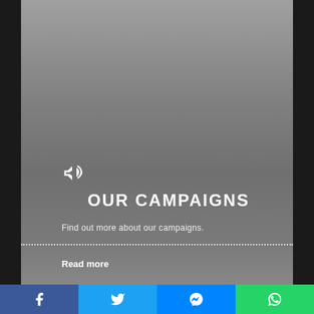[Figure (screenshot): Gray gradient card with megaphone icon, OUR CAMPAIGNS title, subtitle text, dotted divider line, and Read more link]
OUR CAMPAIGNS
Find out more about our campaigns.
Read more
[Figure (screenshot): White/light gray content card area (empty)]
Facebook | Twitter | Messenger | WhatsApp social share bar